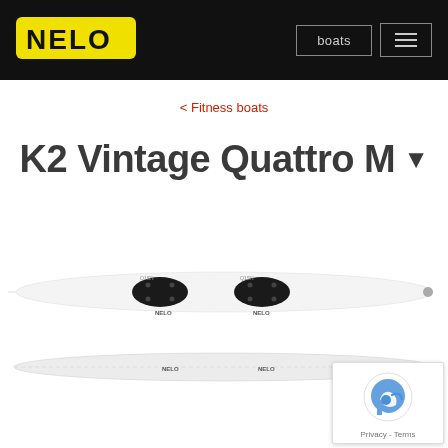NELO — boats (navigation header)
< Fitness boats
K2 Vintage Quattro M
[Figure (photo): Side-view photographs of the Nelo K2 Vintage Quattro M kayak — top view showing two cockpits with black outfitting and Nelo branding on a white hull, and bottom view showing the hull underside with Nelo logos.]
[Figure (logo): Google reCAPTCHA badge with Privacy and Terms links]